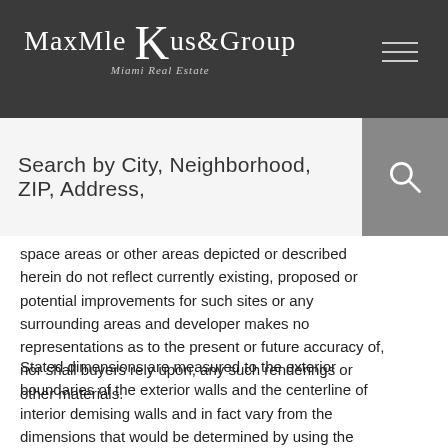MaxMle Kus & Group Miami Real Estate
Search by City, Neighborhood, ZIP, Address,
space areas or other areas depicted or described herein do not reflect currently existing, proposed or potential improvements for such sites or any surrounding areas and developer makes no representations as to the present or future accuracy of, nor shall buyers rely upon, any such renderings or other materials.
Stated dimensions are measured to the exterior boundaries of the exterior walls and the centerline of interior demising walls and in fact vary from the dimensions that would be determined by using the description and